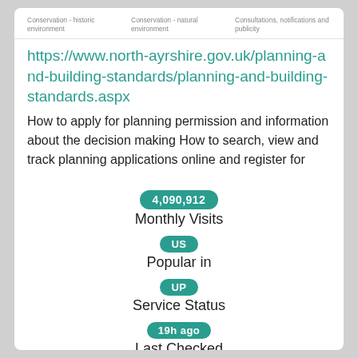Conservation - historic environment	Conservation - natural environment	Consultations, notifications and publicity
https://www.north-ayrshire.gov.uk/planning-and-building-standards/planning-and-building-standards.aspx
How to apply for planning permission and information about the decision making How to search, view and track planning applications online and register for
4,090,912
Monthly Visits
US
Popular in
UP
Service Status
19h ago
Last Checked